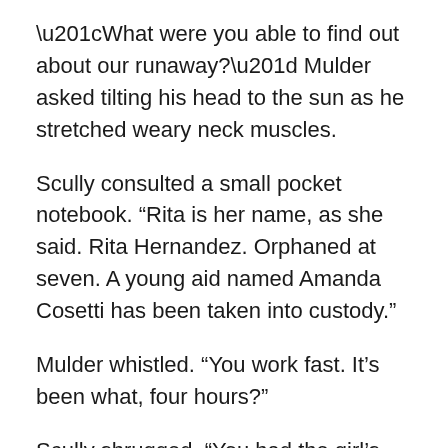“What were you able to find out about our runaway?” Mulder asked tilting his head to the sun as he stretched weary neck muscles.
Scully consulted a small pocket notebook. “Rita is her name, as she said. Rita Hernandez. Orphaned at seven. A young aid named Amanda Cosetti has been taken into custody.”
Mulder whistled. “You work fast. It’s been what, four hours?”
Scully shrugged. “You had the girl’s first name and we knew the exact date when Ernest Sawyer worked his last shift. The Park also keeps good records of its charity work. They routinely sponsor daytrips for group homes. Within two minutes after I pulled out my badge at Theresa’s House and started asking questions this young woman